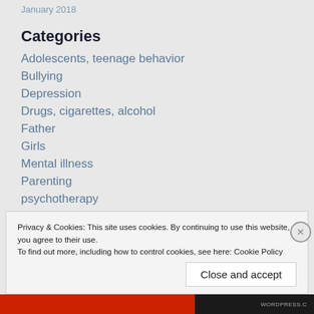January 2018
Categories
Adolescents, teenage behavior
Bullying
Depression
Drugs, cigarettes, alcohol
Father
Girls
Mental illness
Parenting
psychotherapy
Privacy & Cookies: This site uses cookies. By continuing to use this website, you agree to their use.
To find out more, including how to control cookies, see here: Cookie Policy
Close and accept